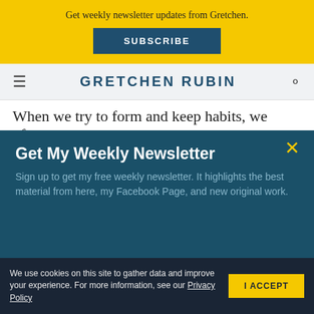Get weekly newsletter updates from Gretchen.
SUBSCRIBE
GRETCHEN RUBIN
When we try to form and keep habits, we often
Get My Weekly Newsletter
Sign up to get my free weekly newsletter. It highlights the best material from here, my Facebook Page, and new original work.
We use cookies on this site to gather data and improve your experience. For more information, see our Privacy Policy
I ACCEPT